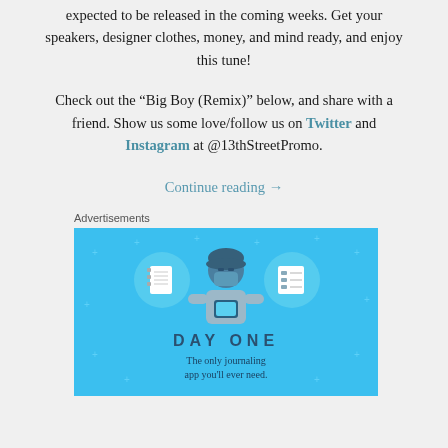expected to be released in the coming weeks. Get your speakers, designer clothes, money, and mind ready, and enjoy this tune!
Check out the “Big Boy (Remix)” below, and share with a friend. Show us some love/follow us on Twitter and Instagram at @13thStreetPromo.
Continue reading →
Advertisements
[Figure (illustration): Day One app advertisement on blue background showing a person holding a phone with notebook and list icons, text reads DAY ONE - The only journaling app you'll ever need.]